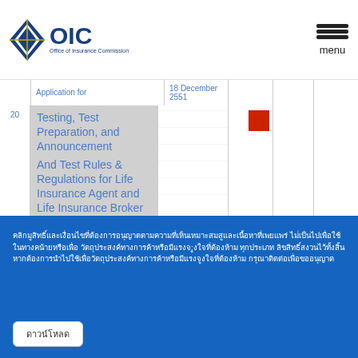OIC - Office of Insurance Commission
| No. | Application for | Date |  |  |  |
| --- | --- | --- | --- | --- | --- |
| 20 | Testing, Test Preparation, and Announcement And Test Rules & Regulations for Life Insurance Agent and Life Insurance Broker License B. E. 2551 | 18 December 2551 |  |  |  |
Thai language text block (footer content about OIC regulations and insurance licensing information)
Thai button label